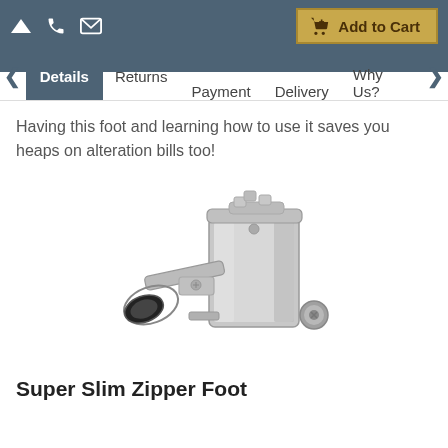Add to Cart
Details | Returns | Payment | Delivery | Why Us?
Having this foot and learning how to use it saves you heaps on alteration bills too!
[Figure (photo): A metal Super Slim Zipper Foot sewing machine attachment, silver metallic finish, shown at an angle against a white background.]
Super Slim Zipper Foot